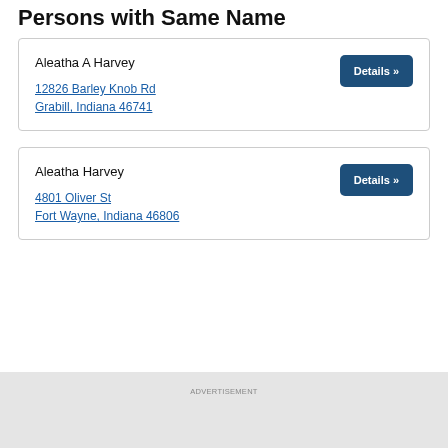Persons with Same Name
Aleatha A Harvey
12826 Barley Knob Rd
Grabill, Indiana 46741
Aleatha Harvey
4801 Oliver St
Fort Wayne, Indiana 46806
ADVERTISEMENT